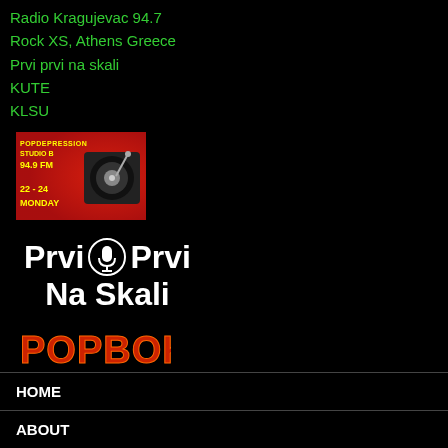Radio Kragujevac 94.7
Rock XS, Athens Greece
Prvi prvi na skali
KUTE
KLSU
[Figure (logo): PopDepression Studio B 94.9 FM 22-24 Monday banner with DJ turntable on red background]
[Figure (logo): Prvi Prvi Na Skali logo with microphone icon in white bold text on black background]
[Figure (logo): POPBOKS logo in red and orange stylized text on black background]
HOME
ABOUT